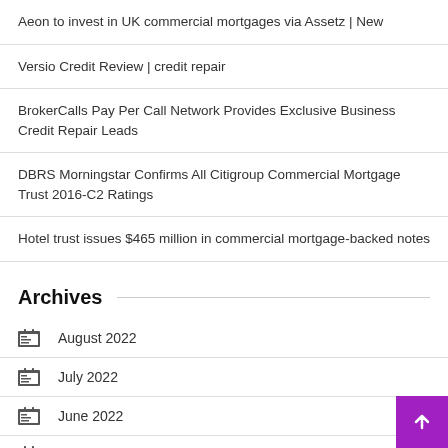Aeon to invest in UK commercial mortgages via Assetz | New
Versio Credit Review | credit repair
BrokerCalls Pay Per Call Network Provides Exclusive Business Credit Repair Leads
DBRS Morningstar Confirms All Citigroup Commercial Mortgage Trust 2016-C2 Ratings
Hotel trust issues $465 million in commercial mortgage-backed notes
Archives
August 2022
July 2022
June 2022
May 2022